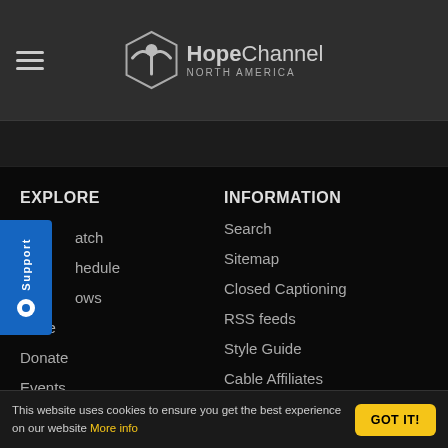HopeChannel NORTH AMERICA
EXPLORE
Watch
Schedule
Shows
Store
Donate
Events
More
INFORMATION
Search
Sitemap
Closed Captioning
RSS feeds
Style Guide
Cable Affiliates
Executive Information
This website uses cookies to ensure you get the best experience on our website More info